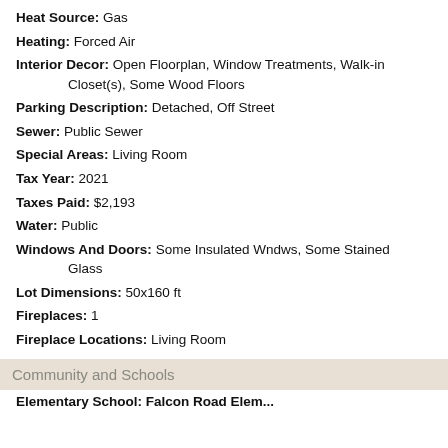Heat Source: Gas
Heating: Forced Air
Interior Decor: Open Floorplan, Window Treatments, Walk-in Closet(s), Some Wood Floors
Parking Description: Detached, Off Street
Sewer: Public Sewer
Special Areas: Living Room
Tax Year: 2021
Taxes Paid: $2,193
Water: Public
Windows And Doors: Some Insulated Wndws, Some Stained Glass
Lot Dimensions: 50x160 ft
Fireplaces: 1
Fireplace Locations: Living Room
Community and Schools
Elementary School: Falcon Road Elem...